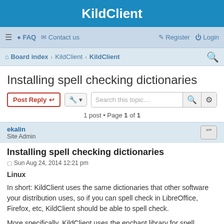KildClient
≡ FAQ Contact us Register Login
Board index · KildClient · KildClient
Installing spell checking dictionaries
Post Reply | Tools | Search this topic… | 1 post • Page 1 of 1
ekalin
Site Admin
Installing spell checking dictionaries
Sun Aug 24, 2014 12:21 pm
Linux
In short: KildClient uses the same dictionaries that other software your distribution uses, so if you can spell check in LibreOffice, Firefox, etc, KildClient should be able to spell check.
More specifically, KildClient uses the enchant library for spell checking. enchant allows several dictionary backends to be used, such as aspell,